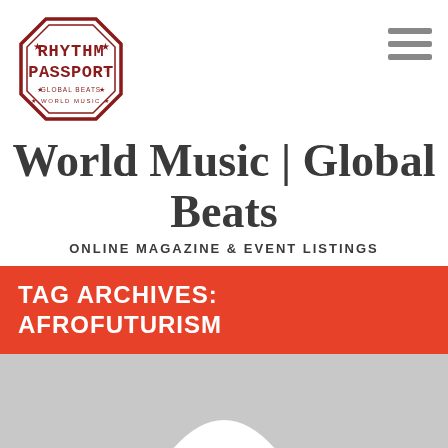[Figure (logo): Rhythm Passport logo — octagonal stamp design with text RHYTHM PASSPORT and GLOBAL BEATS * WORLD MUSIC in dark red/maroon]
World Music | Global Beats
ONLINE MAGAZINE & EVENT LISTINGS
TAG ARCHIVES: AFROFUTURISM
[Figure (photo): Gray placeholder image with partial white arch/circle shape at bottom center]